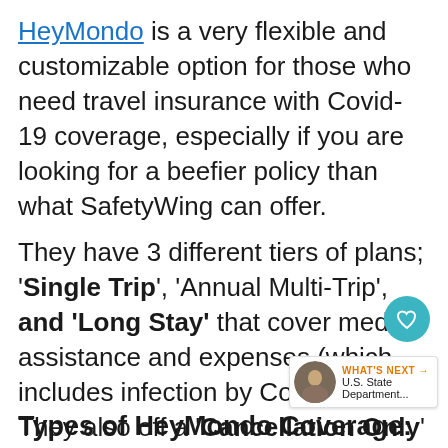HeyMondo is a very flexible and customizable option for those who need travel insurance with Covid-19 coverage, especially if you are looking for a beefier policy than what SafetyWing can offer.
They have 3 different tiers of plans; 'Single Trip', 'Annual Multi-Trip', and 'Long Stay' that cover medical assistance and expenses (which includes infection by Covid-19). They also off a 'Cancellation Only' policy.
Types of HeyMondo Coverage: